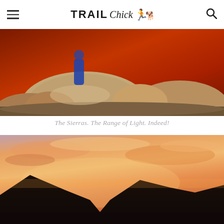TRAIL Chick [logo with runner icon]
[Figure (photo): Person in blue jacket standing on rocky boulders with dramatic red/orange sky and mountain landscape in the Sierras]
The Sierras. The Range of Light. Indeed!
[Figure (photo): Mountain silhouette at sunset/sunrise with vibrant pink and orange clouds filling the sky above dark rocky peaks]